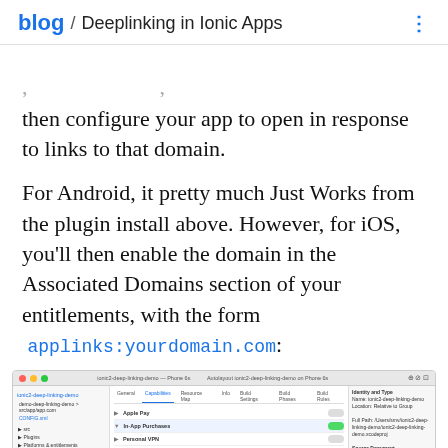blog / Deeplinking in Ionic Apps
…then configure your app to open in response to links to that domain.
For Android, it pretty much Just Works from the plugin install above. However, for iOS, you'll then enable the domain in the Associated Domains section of your entitlements, with the form applinks:yourdomain.com:
[Figure (screenshot): Xcode IDE screenshot showing the Associated Domains entitlement configuration panel with applinks domain entries]